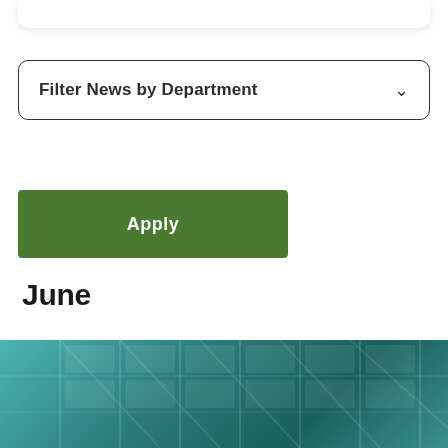[Figure (screenshot): Top portion of a white card/panel visible at the top of the page]
Filter News by Department
Apply
June
[Figure (photo): Teal/green tinted architectural photo showing building exterior with glass windows and structural elements]